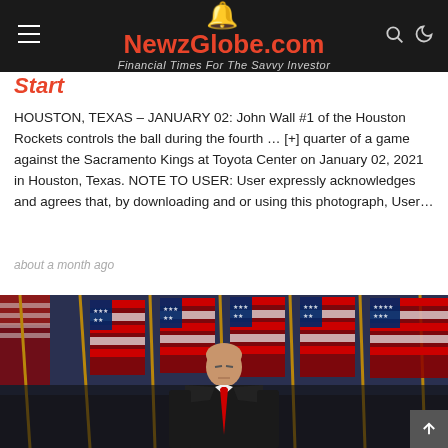🔔 NewzGlobe.com — Financial Times For The Savvy Investor
Start
HOUSTON, TEXAS – JANUARY 02: John Wall #1 of the Houston Rockets controls the ball during the fourth … [+] quarter of a game against the Sacramento Kings at Toyota Center on January 02, 2021 in Houston, Texas. NOTE TO USER: User expressly acknowledges and agrees that, by downloading and or using this photograph, User…
about a month ago
[Figure (photo): A person standing in front of multiple American flags, wearing a dark suit and red tie, photographed at night or in low light.]